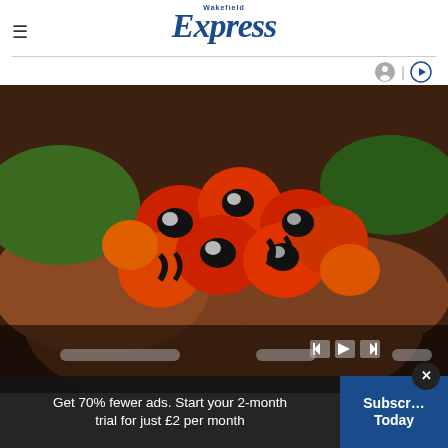Wakefield Express
[Figure (photo): Hands holding multiple small red and orange peppers or chilli fruits with black seeds/olives creating ladybird-like patterns. Media player controls visible at bottom right of image.]
Get 70% fewer ads. Start your 2-month trial for just £2 per month
Subscribe Today